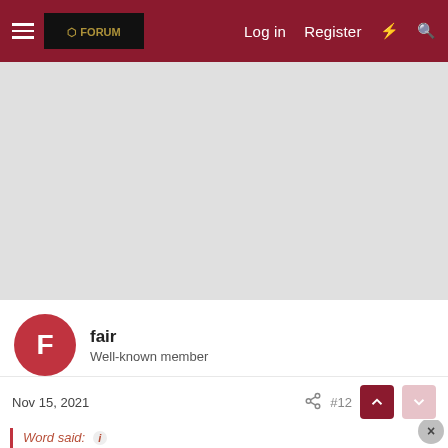Log in  Register
[Figure (screenshot): Gray advertisement area placeholder]
fair
Well-known member
Nov 15, 2021  #12
Word said:
Yep I've been saying the same thing. Give Kramer 1 or 2 series per half...